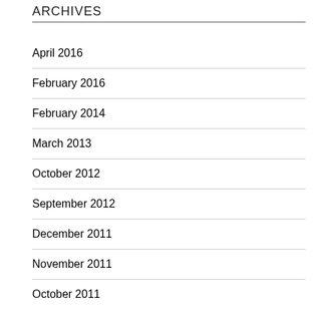ARCHIVES
April 2016
February 2016
February 2014
March 2013
October 2012
September 2012
December 2011
November 2011
October 2011